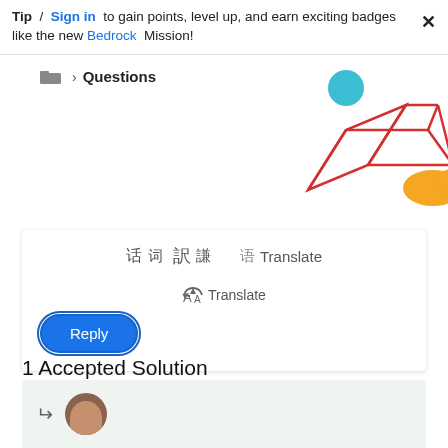Tip / Sign in to gain points, level up, and earn exciting badges like the new Bedrock Mission!
Questions
[Figure (illustration): Decorative geometric 3D cube illustration in red lines with a teal circle and orange shape]
Translate
Reply
1 Accepted Solution
[Figure (photo): User avatar photo of a person with dark hair, partially visible at bottom of page]